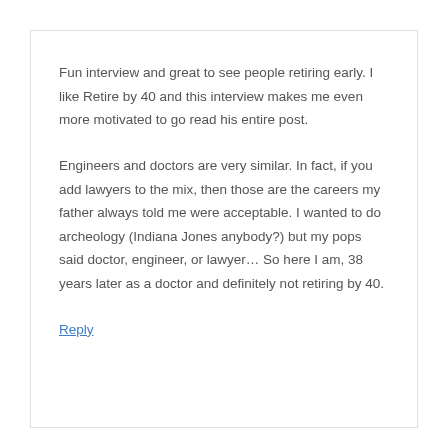Fun interview and great to see people retiring early. I like Retire by 40 and this interview makes me even more motivated to go read his entire post.
Engineers and doctors are very similar. In fact, if you add lawyers to the mix, then those are the careers my father always told me were acceptable. I wanted to do archeology (Indiana Jones anybody?) but my pops said doctor, engineer, or lawyer… So here I am, 38 years later as a doctor and definitely not retiring by 40.
Reply